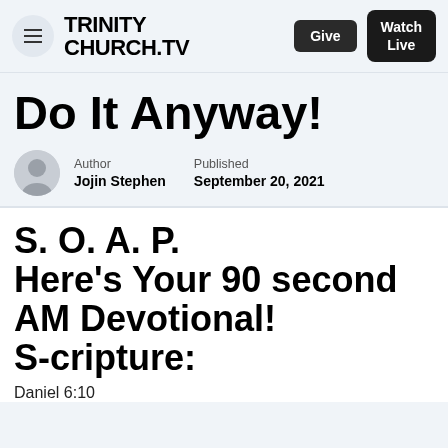TRINITY CHURCH.TV  Give  Watch Live
Do It Anyway!
Author: Jojin Stephen  Published: September 20, 2021
S. O. A. P. Here's Your 90 second AM Devotional! S-cripture:
Daniel 6:10